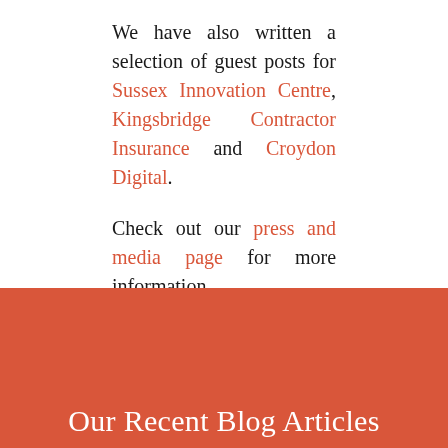We have also written a selection of guest posts for Sussex Innovation Centre, Kingsbridge Contractor Insurance and Croydon Digital.
Check out our press and media page for more information.
For press opportunities please contact us at info@mindfulcontract.co.uk.
Our Recent Blog Articles